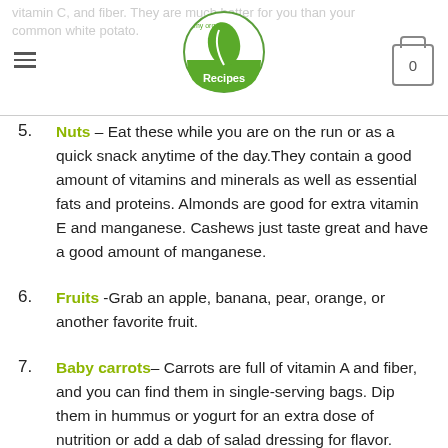vitamin C, and fiber. They are much better for you than your common white potato.
5. Nuts – Eat these while you are on the run or as a quick snack anytime of the day. They contain a good amount of vitamins and minerals as well as essential fats and proteins. Almonds are good for extra vitamin E and manganese. Cashews just taste great and have a good amount of manganese.
6. Fruits -Grab an apple, banana, pear, orange, or another favorite fruit.
7. Baby carrots– Carrots are full of vitamin A and fiber, and you can find them in single-serving bags. Dip them in hummus or yogurt for an extra dose of nutrition or add a dab of salad dressing for flavor.